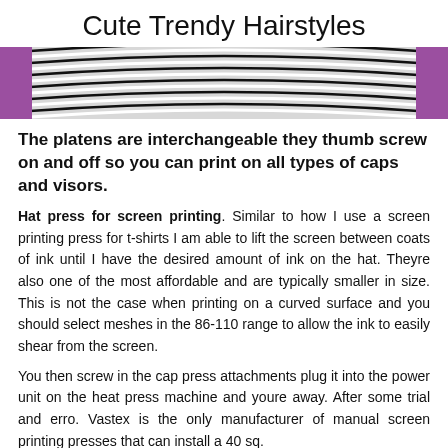Cute Trendy Hairstyles
[Figure (photo): Close-up photo of black and white parallel curved stripes on a hat or visor, with purple background visible at the edges.]
The platens are interchangeable they thumb screw on and off so you can print on all types of caps and visors.
Hat press for screen printing. Similar to how I use a screen printing press for t-shirts I am able to lift the screen between coats of ink until I have the desired amount of ink on the hat. Theyre also one of the most affordable and are typically smaller in size. This is not the case when printing on a curved surface and you should select meshes in the 86-110 range to allow the ink to easily shear from the screen.
You then screw in the cap press attachments plug it into the power unit on the heat press machine and youre away. After some trial and erro. Vastex is the only manufacturer of manual screen printing presses that can install a 40 sq.